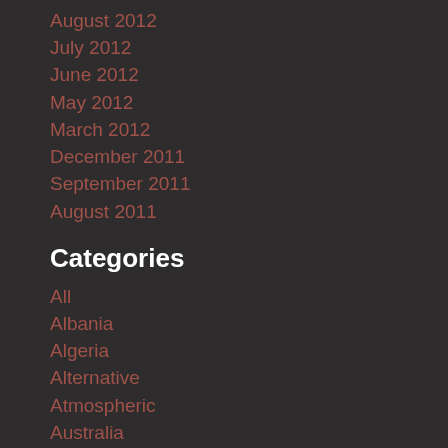August 2012
July 2012
June 2012
May 2012
March 2012
December 2011
September 2011
August 2011
Categories
All
Albania
Algeria
Alternative
Atmospheric
Australia
Bangladesh
Beautycore
Belarus
Belgium
Bhutan